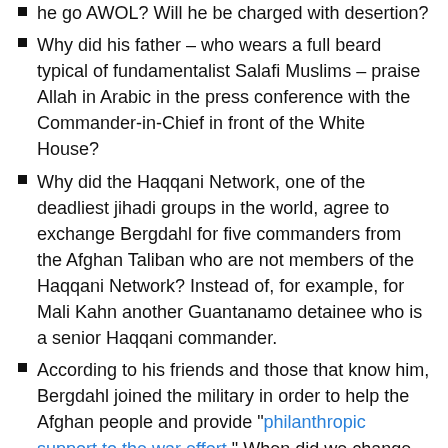he go AWOL? Will he be charged with desertion?
Why did his father – who wears a full beard typical of fundamentalist Salafi Muslims – praise Allah in Arabic in the press conference with the Commander-in-Chief in front of the White House?
Why did the Haqqani Network, one of the deadliest jihadi groups in the world, agree to exchange Bergdahl for five commanders from the Afghan Taliban who are not members of the Haqqani Network? Instead of, for example, for Mali Kahn another Guantanamo detainee who is a senior Haqqani commander.
According to his friends and those that know him, Bergdahl joined the military in order to help the Afghan people and provide "philanthropic support to the war effort." When did we change US Armed Forces recruiting protocols and start looking for charity